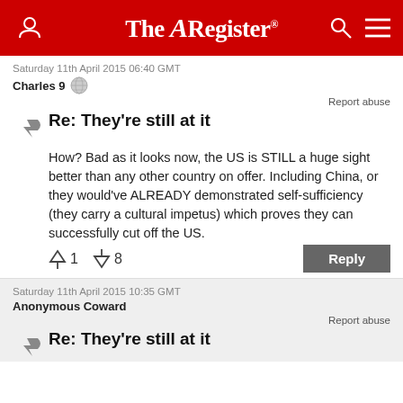The Register
Saturday 11th April 2015 06:40 GMT
Charles 9
Report abuse
Re: They're still at it
How? Bad as it looks now, the US is STILL a huge sight better than any other country on offer. Including China, or they would've ALREADY demonstrated self-sufficiency (they carry a cultural impetus) which proves they can successfully cut off the US.
↑1  ↓8   Reply
Saturday 11th April 2015 10:35 GMT
Anonymous Coward
Report abuse
Re: They're still at it